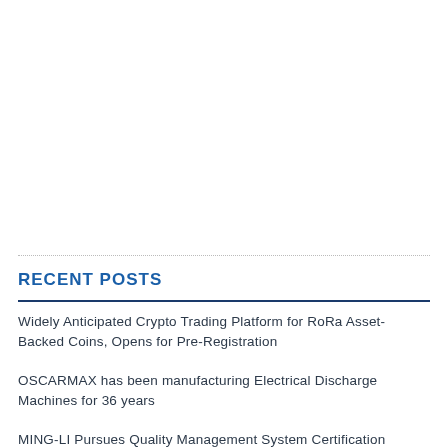RECENT POSTS
Widely Anticipated Crypto Trading Platform for RoRa Asset-Backed Coins, Opens for Pre-Registration
OSCARMAX has been manufacturing Electrical Discharge Machines for 36 years
MING-LI Pursues Quality Management System Certification